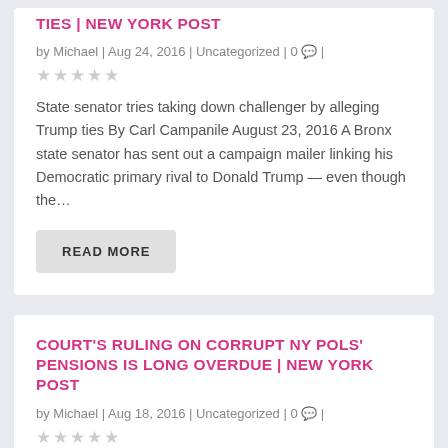TIES | NEW YORK POST
by Michael | Aug 24, 2016 | Uncategorized | 0 💬 |
★★★★★
State senator tries taking down challenger by alleging Trump ties By Carl Campanile August 23, 2016 A Bronx state senator has sent out a campaign mailer linking his Democratic primary rival to Donald Trump — even though the…
READ MORE
COURT'S RULING ON CORRUPT NY POLS' PENSIONS IS LONG OVERDUE | NEW YORK POST
by Michael | Aug 18, 2016 | Uncategorized | 0 💬 |
★★★★★
Corrupt New York pols who dream of retiring